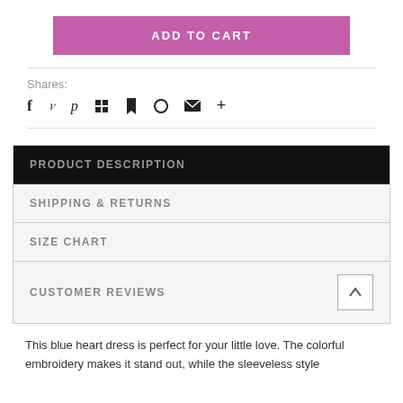ADD TO CART
Shares:
[Figure (other): Social sharing icons: facebook, twitter, pinterest, grid/apps, bookmark, heart/circle, email, plus]
PRODUCT DESCRIPTION
SHIPPING & RETURNS
SIZE CHART
CUSTOMER REVIEWS
This blue heart dress is perfect for your little love. The colorful embroidery makes it stand out, while the sleeveless style